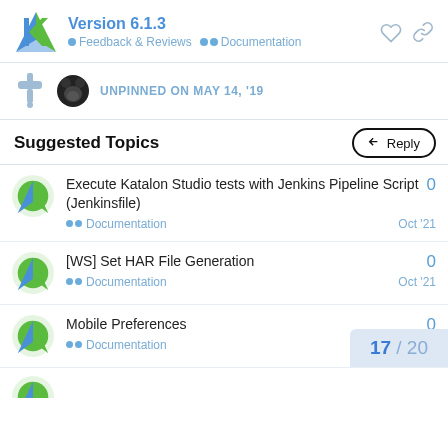Version 6.1.3 • Feedback & Reviews •• Documentation
UNPINNED ON MAY 14, '19
Suggested Topics
Execute Katalon Studio tests with Jenkins Pipeline Script (Jenkinsfile) •• Documentation Oct '21 0
[WS] Set HAR File Generation •• Documentation Oct '21 0
Mobile Preferences •• Documentation 0
17 / 20